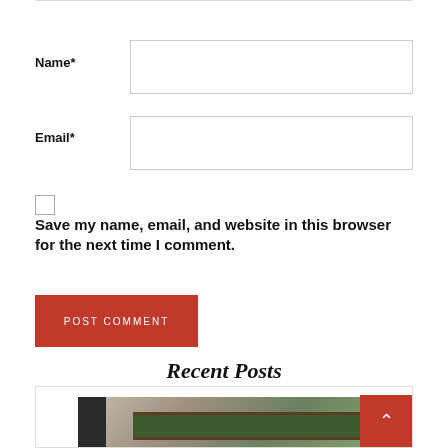Name*
Email*
Save my name, email, and website in this browser for the next time I comment.
POST COMMENT
Recent Posts
[Figure (photo): Interior room photo showing a modern space with dark door panel on left, horizontal wooden-framed window with green foliage visible, warm lighting, and plants. Red scroll-to-top button with upward chevron in bottom right corner.]